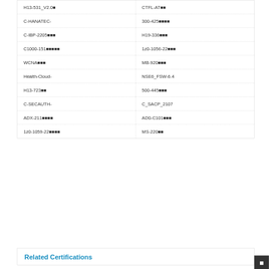| H13-531_V2.0■ | CTFL-AT■■ |
| C-HANATEC- | 300-425■■■■ |
| C-IBP-2205■■■ | H19-336■■■ |
| C1000-151■■■■■ | 1z0-1056-22■■■ |
| WCNA■■■ | MB-920■■■ |
| Health-Cloud- | NSE6_FSW-6.4 |
| H13-723■■ | 500-445■■■ |
| C-SECAUTH- | C_SACP_2107 |
| ADX-211■■■■ | AD0-C101■■■ |
| 1z0-1059-22■■■■ | MS-220■■ |
Related Certifications